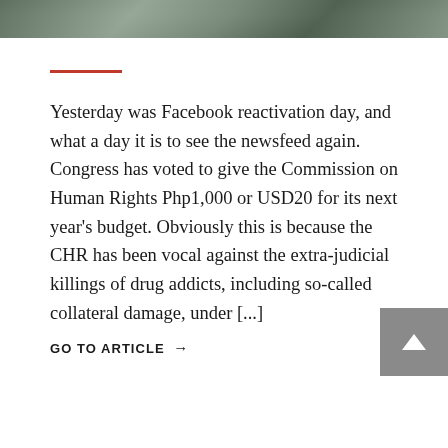[Figure (photo): Cropped top portion of a photo showing a road or street scene with vehicles and green foliage]
Yesterday was Facebook reactivation day, and what a day it is to see the newsfeed again. Congress has voted to give the Commission on Human Rights Php1,000 or USD20 for its next year's budget. Obviously this is because the CHR has been vocal against the extra-judicial killings of drug addicts, including so-called collateral damage, under [...]
GO TO ARTICLE →